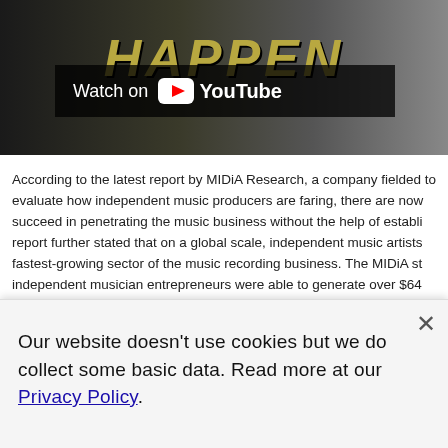[Figure (screenshot): YouTube video thumbnail showing 'Watch on YouTube' overlay banner with dark/gold background]
According to the latest report by MIDiA Research, a company fielded to evaluate how independent music producers are faring, there are now succeed in penetrating the music business without the help of establi report further stated that on a global scale, independent music artists fastest-growing sector of the music recording business. The MIDiA st independent musician entrepreneurs were able to generate over $64 which represents a 35% increase from the figures noted in 2017. .
ABOUT AMUSE RECORD LABEL AND DISTRIBU SERVICE COMPANY
Founded by a group of experts in music and technology as Amuseio A Sweden, this record label company, provides music entrepreneurs a f
Our website doesn't use cookies but we do collect some basic data. Read more at our Privacy Policy.